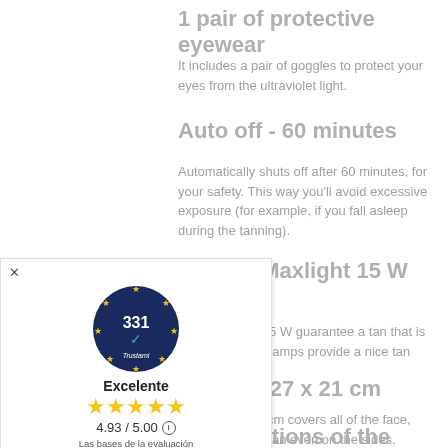1 pair of protective eyewear
It includes a pair of goggles to protect your eyes from the ultraviolet light.
Auto off - 60 minutes
Automatically shuts off after 60 minutes, for your safety. This way you'll avoid excessive exposure (for example, if you fall asleep during the tanning).
4 tubes Maxlight 15 W Collatan
ubes Maxlight 15 W guarantee a tan that is y effective. The lamps provide a nice tan and al.
[Figure (logo): Trustami widget showing badge with 331 reviews, Excelente rating, 4.93/5.00 stars, Las bases de la evaluación son 5 plataformas de ventas y 2 calificación]
ld of tan 27 x 21 cm
eld tan 27 x 21 cm covers all of the face, you a excellent tan even on the sides.
Two positions of the support